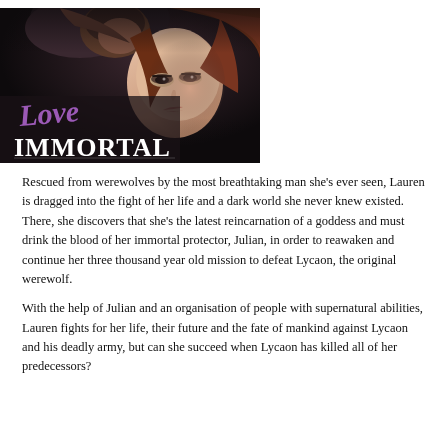[Figure (illustration): Book cover for 'Love Immortal' showing a dark romantic scene with a man and woman, title written in purple script and bold white serif text on a dark background.]
Rescued from werewolves by the most breathtaking man she's ever seen, Lauren is dragged into the fight of her life and a dark world she never knew existed. There, she discovers that she's the latest reincarnation of a goddess and must drink the blood of her immortal protector, Julian, in order to reawaken and continue her three thousand year old mission to defeat Lycaon, the original werewolf.
With the help of Julian and an organisation of people with supernatural abilities, Lauren fights for her life, their future and the fate of mankind against Lycaon and his deadly army, but can she succeed when Lycaon has killed all of her predecessors?